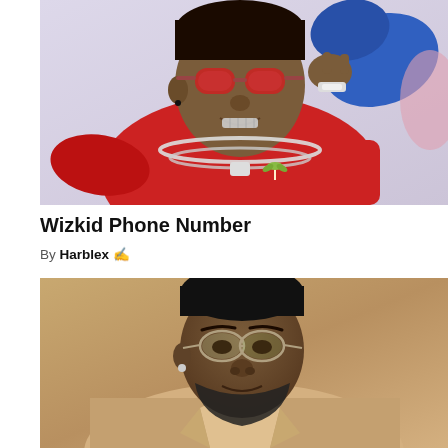[Figure (photo): Photo of Wizkid wearing a red sweater with a palm tree logo, large silver chain necklace, red tinted sunglasses, making a hand gesture near his face. Background is light purple/lavender.]
Wizkid Phone Number
By Harblex ✍️
[Figure (photo): Photo of Davido wearing small oval eyeglasses with green tinted lenses, a beige/tan jacket, and a small earring. He has a beard. Background is warm tan/golden brown.]